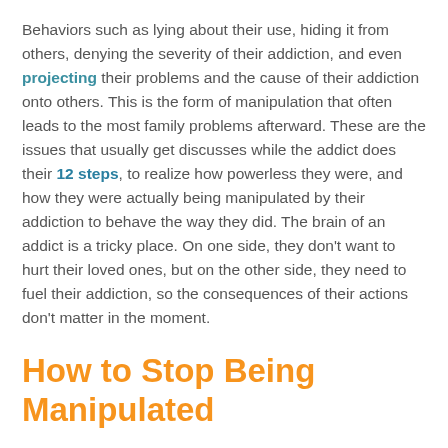Behaviors such as lying about their use, hiding it from others, denying the severity of their addiction, and even projecting their problems and the cause of their addiction onto others. This is the form of manipulation that often leads to the most family problems afterward. These are the issues that usually get discusses while the addict does their 12 steps, to realize how powerless they were, and how they were actually being manipulated by their addiction to behave the way they did. The brain of an addict is a tricky place. On one side, they don't want to hurt their loved ones, but on the other side, they need to fuel their addiction, so the consequences of their actions don't matter in the moment.
How to Stop Being Manipulated
The first thing you need to do is face the truth. If you have seen any or all of this behavior in your loved one, it might be